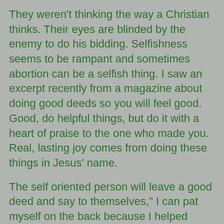They weren't thinking the way a Christian thinks. Their eyes are blinded by the enemy to do his bidding. Selfishness seems to be rampant and sometimes abortion can be a selfish thing. I saw an excerpt recently from a magazine about doing good deeds so you will feel good. Good, do helpful things, but do it with a heart of praise to the one who made you. Real, lasting joy comes from doing these things in Jesus' name.
The self oriented person will leave a good deed and say to themselves," I can pat myself on the back because I helped someone. The God oriented person will say,"Glory to God, I  did what Jesus would do! I please my Father in heaven."
One is sowing to self which profits nothing in the kingdom of God, and the other is storing riches in heaven. Jesus said, " When you give to the